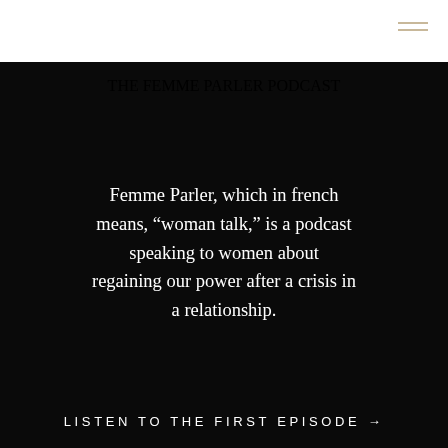[Figure (logo): Hamburger menu icon with two horizontal gold/tan lines in upper right corner of white top bar]
THE FEMME PARLER PODCAST
Femme Parler, which in french means, “woman talk,” is a podcast speaking to women about regaining our power after a crisis in a relationship.
LISTEN TO THE FIRST EPISODE →